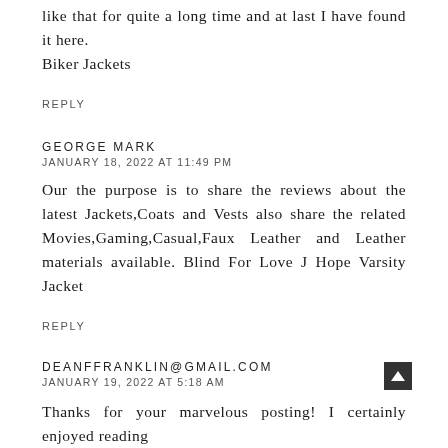like that for quite a long time and at last I have found it here. Biker Jackets
REPLY
GEORGE MARK
JANUARY 18, 2022 AT 11:49 PM
Our the purpose is to share the reviews about the latest Jackets,Coats and Vests also share the related Movies,Gaming,Casual,Faux Leather and Leather materials available. Blind For Love J Hope Varsity Jacket
REPLY
DEANFFRANKLIN@GMAIL.COM
JANUARY 19, 2022 AT 5:18 AM
Thanks for your marvelous posting! I certainly enjoyed reading